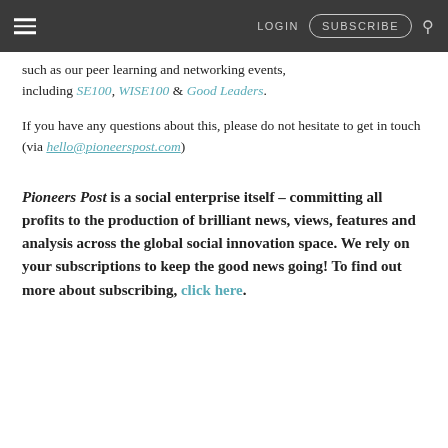LOGIN  SUBSCRIBE
such as our peer learning and networking events, including SE100, WISE100 & Good Leaders.
If you have any questions about this, please do not hesitate to get in touch (via hello@pioneerspost.com)
Pioneers Post is a social enterprise itself – committing all profits to the production of brilliant news, views, features and analysis across the global social innovation space. We rely on your subscriptions to keep the good news going! To find out more about subscribing, click here.